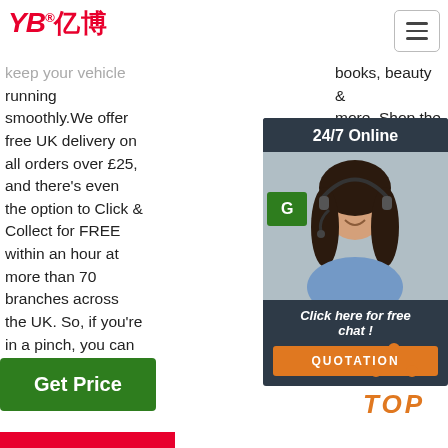[Figure (logo): YB亿博 logo in red with registered trademark symbol]
[Figure (other): Hamburger menu button, top right]
keep your vehicle running smoothly. We offer free UK delivery on all orders over £25, and there's even the option to Click & Collect for FREE within an hour at more than 70 branches across the UK. So, if you're in a pinch, you can get hold of the car parts and spares ...
books, beauty & more. Shop the mobile app anytime, anywhere.
industrial, and safety products
[Figure (other): 24/7 Online support panel with photo of woman wearing headset and Click here for free chat and QUOTATION button]
[Figure (other): Get Price green button (middle column)]
[Figure (other): Get Price green button (left column)]
[Figure (other): TOP back-to-top orange icon, bottom right]